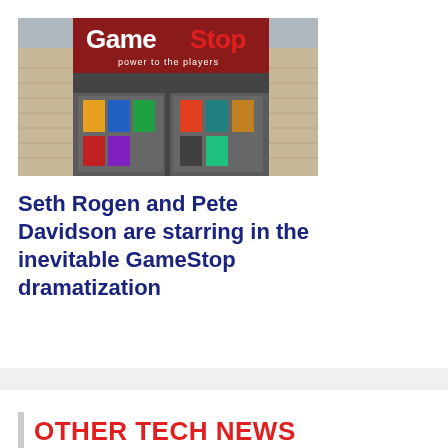[Figure (photo): GameStop store front with red and black sign reading 'GameStop power to the players', showing storefront windows with game displays]
Seth Rogen and Pete Davidson are starring in the inevitable GameStop dramatization
OTHER TECH NEWS